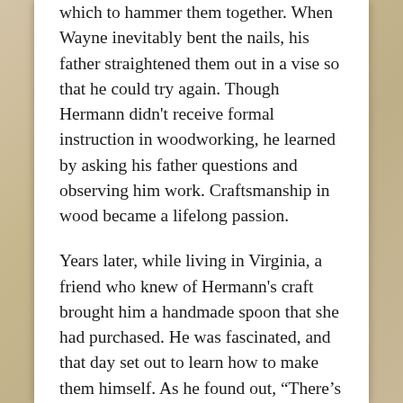which to hammer them together. When Wayne inevitably bent the nails, his father straightened them out in a vise so that he could try again. Though Hermann didn't receive formal instruction in woodworking, he learned by asking his father questions and observing him work. Craftsmanship in wood became a lifelong passion.
Years later, while living in Virginia, a friend who knew of Hermann's craft brought him a handmade spoon that she had purchased. He was fascinated, and that day set out to learn how to make them himself. As he found out, “There’s not a lot of research you can do on carving spoons, because there’s not a lot of people out there that do it.”
During his many years of carving spoons